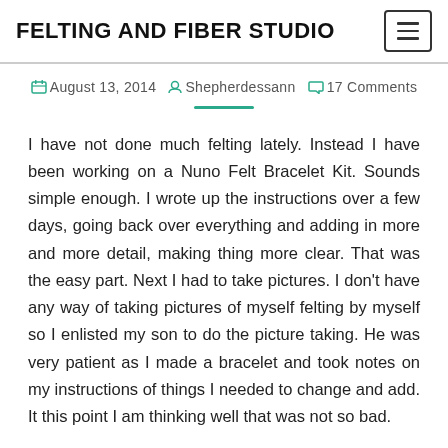FELTING AND FIBER STUDIO
August 13, 2014  Shepherdessann  17 Comments
I have not done much felting lately. Instead I have been working on a Nuno Felt Bracelet Kit. Sounds simple enough. I wrote up the instructions over a few days, going back over everything and adding in more and more detail, making thing more clear. That was the easy part. Next I had to take pictures. I don't have any way of taking pictures of myself felting by myself so I enlisted my son to do the picture taking. He was very patient as I made a bracelet and took notes on my instructions of things I needed to change and add. It this point I am thinking well that was not so bad.